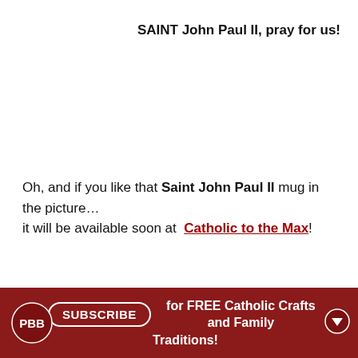SAINT John Paul II, pray for us!
Oh, and if you like that Saint John Paul II mug in the picture… it will be available soon at  Catholic to the Max!
SUBSCRIBE for FREE Catholic Crafts and Family Traditions!